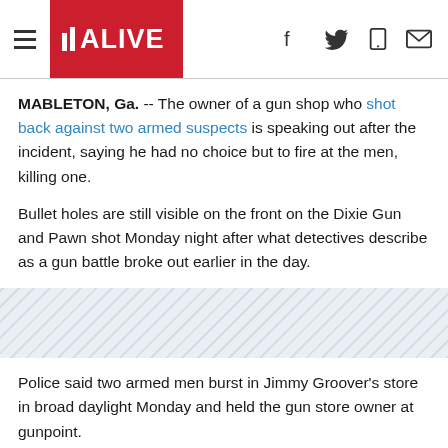11 ALIVE
MABLETON, Ga. -- The owner of a gun shop who shot back against two armed suspects is speaking out after the incident, saying he had no choice but to fire at the men, killing one.
Bullet holes are still visible on the front on the Dixie Gun and Pawn shot Monday night after what detectives describe as a gun battle broke out earlier in the day.
[Figure (other): Hatched grey divider / advertisement zone]
Police said two armed men burst in Jimmy Groover's store in broad daylight Monday and held the gun store owner at gunpoint.
“Get down on the floor, get down on the floor or I’ll kill you,” Groover recalled the suspects telling him. “Then they shot